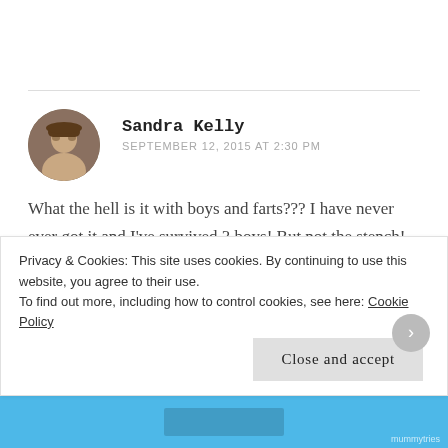Sandra Kelly
SEPTEMBER 12, 2015 AT 2:30 PM
What the hell is it with boys and farts??? I have never ever got it and I've survived 3 boys! But not the stench! Your list is lovely. Xx
Privacy & Cookies: This site uses cookies. By continuing to use this website, you agree to their use. To find out more, including how to control cookies, see here: Cookie Policy
Close and accept